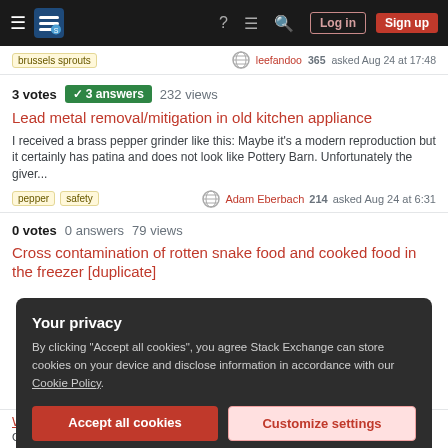Stack Exchange navigation bar with Log in and Sign up buttons
brussels sprouts   leefandoo 365 asked Aug 24 at 17:48
3 votes  3 answers  232 views
Lead metal removal/mitigation in old kitchen appliance
I received a brass pepper grinder like this: Maybe it's a modern reproduction but it certainly has patina and does not look like Pottery Barn. Unfortunately the giver...
pepper  safety   Adam Eberbach 214 asked Aug 24 at 6:31
0 votes  0 answers  79 views
Cross contamination of rotten snake food and cooked food in the freezer [duplicate]
Your privacy
By clicking "Accept all cookies", you agree Stack Exchange can store cookies on your device and disclose information in accordance with our Cookie Policy.
Accept all cookies
Customize settings
Why do we use ginger and garlic in meat curry?
Garlic and ginger are a staple in South Asian meat (chicken, beef, goat, lamb, duck...